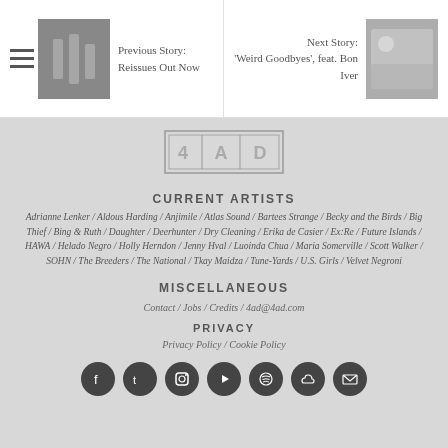Previous Story: Reissues Out Now
Next Story: 'Weird Goodbyes', feat. Bon Iver
[Figure (logo): 4AD logo — rectangular border with '4|A|D' text]
CURRENT ARTISTS
Adrianne Lenker / Aldous Harding / Anjimile / Atlas Sound / Bartees Strange / Becky and the Birds / Big Thief / Bing & Ruth / Daughter / Deerhunter / Dry Cleaning / Erika de Casier / Ex:Re / Future Islands / HAWA / Helado Negro / Holly Herndon / Jenny Hval / Luoinda Chua / Maria Somerville / Scott Walker / SOHN / The Breeders / The National / Tkay Maidza / Tune-Yards / U.S. Girls / Velvet Negroni
MISCELLANEOUS
Contact / Jobs / Credits / 4ad@4ad.com
PRIVACY
Privacy Policy / Cookie Policy
[Figure (infographic): Row of social media icons: Facebook, Twitter, Instagram, YouTube, Spotify, SoundCloud, Email — dark circles]